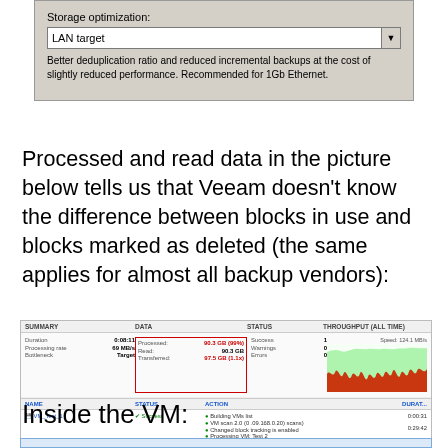[Figure (screenshot): Storage optimization dropdown showing 'LAN target' selected, with description text about deduplication ratio]
Processed and read data in the picture below tells us that Veeam doesn't know the difference between blocks in use and blocks marked as deleted (the same applies for almost all backup vendors):
[Figure (screenshot): Veeam backup job status screenshot showing DATA section highlighted in red border: Processed 90.3 GB (99%), Read 90.3 GB, Transferred 97.5 GB (1.1x). STATUS shows Success. THROUGHPUT (ALL TIME) chart shown on right with green/red area chart.]
Inside the VM:
[Figure (screenshot): Beginning of another screenshot at the bottom]